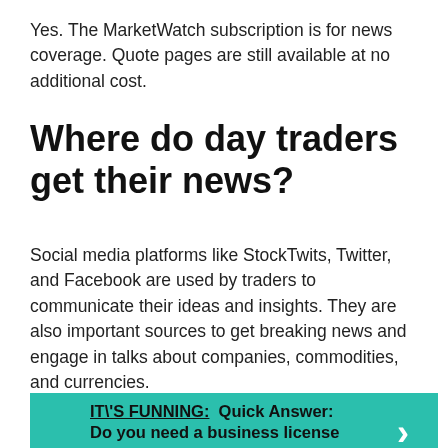Yes. The MarketWatch subscription is for news coverage. Quote pages are still available at no additional cost.
Where do day traders get their news?
Social media platforms like StockTwits, Twitter, and Facebook are used by traders to communicate their ideas and insights. They are also important sources to get breaking news and engage in talks about companies, commodities, and currencies.
IT\'S FUNNING:  Quick Answer: Do you need a business license to sell